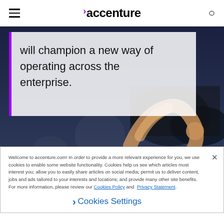accenture
[Figure (photo): Person doing a backbend or acrobatic move outdoors at night, used as hero image behind a quote overlay]
will champion a new way of operating across the enterprise.
Now is the time to make your move to intelligent operations
Welcome to accenture.com! In order to provide a more relevant experience for you, we use cookies to enable some website functionality. Cookies help us see which articles most interest you; allow you to easily share articles on social media; permit us to deliver content, jobs and ads tailored to your interests and locations; and provide many other site benefits. For more information, please review our Cookies Policy and Privacy Statement.
Cookies Settings